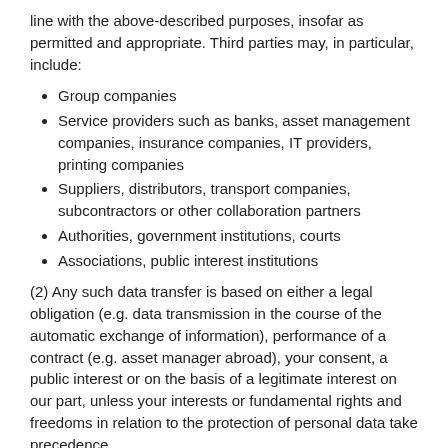line with the above-described purposes, insofar as permitted and appropriate. Third parties may, in particular, include:
Group companies
Service providers such as banks, asset management companies, insurance companies, IT providers, printing companies
Suppliers, distributors, transport companies, subcontractors or other collaboration partners
Authorities, government institutions, courts
Associations, public interest institutions
(2) Any such data transfer is based on either a legal obligation (e.g. data transmission in the course of the automatic exchange of information), performance of a contract (e.g. asset manager abroad), your consent, a public interest or on the basis of a legitimate interest on our part, unless your interests or fundamental rights and freedoms in relation to the protection of personal data take precedence.
(3) Recipients may be at home or abroad. In particular, we would like to point out to you that we may exchange personal data within our Group companies or transmit personal data to countries in which service providers are located from which we obtain services (e.g. Microsoft).